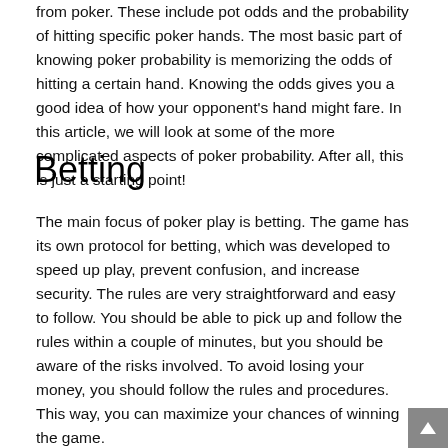from poker. These include pot odds and the probability of hitting specific poker hands. The most basic part of knowing poker probability is memorizing the odds of hitting a certain hand. Knowing the odds gives you a good idea of how your opponent's hand might fare. In this article, we will look at some of the more complicated aspects of poker probability. After all, this is just a starting point!
Betting
The main focus of poker play is betting. The game has its own protocol for betting, which was developed to speed up play, prevent confusion, and increase security. The rules are very straightforward and easy to follow. You should be able to pick up and follow the rules within a couple of minutes, but you should be aware of the risks involved. To avoid losing your money, you should follow the rules and procedures. This way, you can maximize your chances of winning the game.